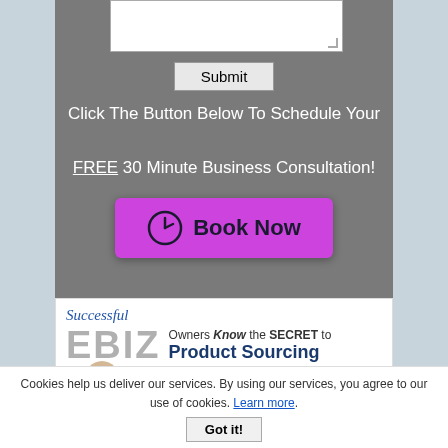Click The Button Below To Schedule Your FREE 30 Minute Business Consultation!
[Figure (screenshot): Magenta 'Book Now' button with clock icon]
[Figure (illustration): Successful EBIZ Owners Know the SECRET to Product Sourcing advertisement banner with man in blue shirt]
Cookies help us deliver our services. By using our services, you agree to our use of cookies. Learn more.
Got it!